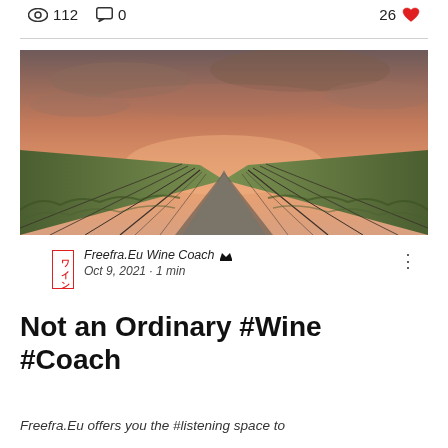👁 112   💬 0   26 ❤
[Figure (photo): A scenic path through a vineyard at sunset/dusk, with wooden fence posts on both sides and a warm pinkish-orange sky.]
ワイン  Freefra.Eu Wine Coach 👑  Oct 9, 2021 · 1 min
Not an Ordinary #Wine #Coach
Freefra.Eu offers you the #listening space to